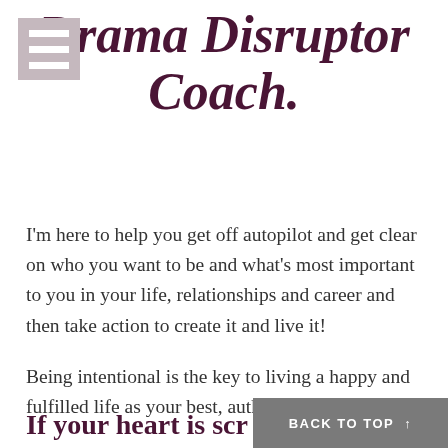Drama Disruptor Coach.
I'm here to help you get off autopilot and get clear on who you want to be and what's most important to you in your life, relationships and career and then take action to create it and live it!
Being intentional is the key to living a happy and fulfilled life as your best, authentic self.
If your heart is screaming YES,
BACK TO TOP ↑